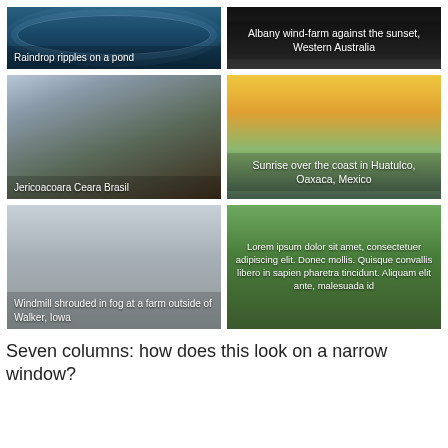[Figure (photo): Raindrop ripples on a pond — blue water surface with circular ripple patterns]
[Figure (photo): Albany wind-farm against the sunset, Western Australia — dark silhouette with dark sky]
[Figure (photo): Jericoacoara Ceara Brasil — rocky coastal landscape at sunset]
[Figure (photo): Sunrise over the coast in Huatulco, Oaxaca, Mexico — golden sunrise with green coastal hills]
[Figure (photo): Windmill shrouded in fog at a farm outside of Walker, Iowa — misty grey scene with windmill silhouette]
[Figure (photo): Lorem ipsum dolor sit amet, consectetuer adipiscing elit. Donec mollis. Quisque convallis libero in sapien pharetra tincidunt. Aliquam elit ante, malesuada id... — green field under blue sky]
Seven columns: how does this look on a narrow window?